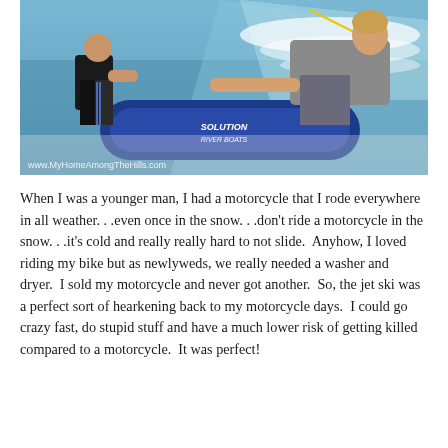[Figure (photo): Two people on a boat on water, leaning over a blue inflatable tube labeled 'SOLUTION RIVER BOATS'. Water wake is visible in background. Watermark reads www.MyHomeAmongTheHills.com]
When I was a younger man, I had a motorcycle that I rode everywhere in all weather. . .even once in the snow. . .don't ride a motorcycle in the snow. . .it's cold and really really hard to not slide.  Anyhow, I loved riding my bike but as newlyweds, we really needed a washer and dryer.  I sold my motorcycle and never got another.  So, the jet ski was a perfect sort of hearkening back to my motorcycle days.  I could go crazy fast, do stupid stuff and have a much lower risk of getting killed compared to a motorcycle.  It was perfect!